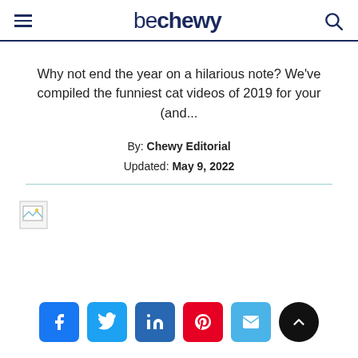be chewy
Why not end the year on a hilarious note? We've compiled the funniest cat videos of 2019 for your (and...
By: Chewy Editorial
Updated: May 9, 2022
[Figure (screenshot): Broken image placeholder thumbnail]
[Figure (other): Social sharing icons row: Facebook, Twitter, LinkedIn, Pinterest, Email, scroll-to-top]